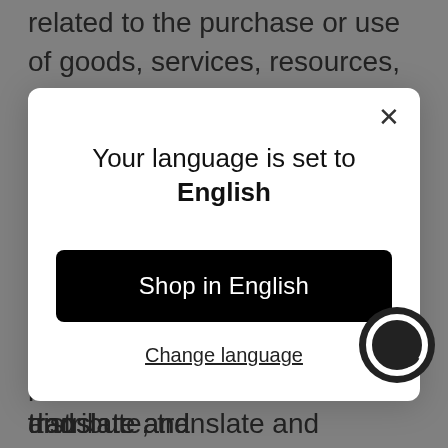related to the purchase or use of goods, services, resources, content, or any other transactions made in connection with any third-party websites. Please review carefully the third-party's policies and practices and make sure you understand
[Figure (screenshot): A modal dialog box with a white background and rounded corners overlaid on a grayed-out page. The modal contains the text 'Your language is set to English', a black button labeled 'Shop in English', and an underlined link 'Change language'. A close button (×) is in the top right corner of the modal.]
ideas, suggestions, proposals, plans, or other materials, whether online, by email, by post, or otherwise (collectively, 'comments'), you agree that we may, at any time, without restriction, edit, copy, publish, distribute, translate and